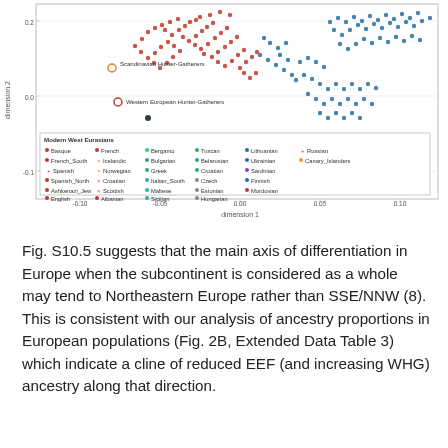[Figure (continuous-plot): PCA scatter plot of modern West Eurasians and ancient hunter-gatherers. X-axis: dimension 1 (range -0.10 to 0.10+). Y-axis: dimension 2. Red dots cluster upper-left (modern West Europeans including Basque, French, Spanish, etc.). Blue dots cluster right (Eastern Europeans including Lithuanian, Ukrainian, Russian, etc.). Orange/brown points labeled 'Scandinavian Hunter-Gatherers' and 'Western European Hunter-Gatherers' appear isolated to the left. Legend at bottom lists population names in colored symbols.]
Fig. S10.5 suggests that the main axis of differentiation in Europe when the subcontinent is considered as a whole may tend to Northeastern Europe rather than SSE/NNW (8). This is consistent with our analysis of ancestry proportions in European populations (Fig. 2B, Extended Data Table 3) which indicate a cline of reduced EEF (and increasing WHG) ancestry along that direction.